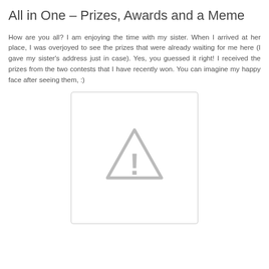All in One – Prizes, Awards and a Meme
How are you all? I am enjoying the time with my sister. When I arrived at her place, I was overjoyed to see the prizes that were already waiting for me here (I gave my sister's address just in case). Yes, you guessed it right! I received the prizes from the two contests that I have recently won. You can imagine my happy face after seeing them, :)
[Figure (other): Placeholder image with a warning/caution triangle icon (grey triangle with exclamation mark) on a white background with grey border]